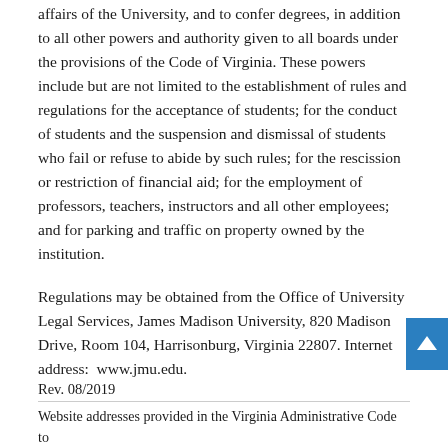affairs of the University, and to confer degrees, in addition to all other powers and authority given to all boards under the provisions of the Code of Virginia. These powers include but are not limited to the establishment of rules and regulations for the acceptance of students; for the conduct of students and the suspension and dismissal of students who fail or refuse to abide by such rules; for the rescission or restriction of financial aid; for the employment of professors, teachers, instructors and all other employees; and for parking and traffic on property owned by the institution.
Regulations may be obtained from the Office of University Legal Services, James Madison University, 820 Madison Drive, Room 104, Harrisonburg, Virginia 22807. Internet address:  www.jmu.edu.
Rev. 08/2019
Website addresses provided in the Virginia Administrative Code to